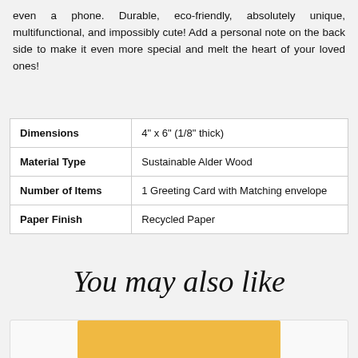even a phone. Durable, eco-friendly, absolutely unique, multifunctional, and impossibly cute! Add a personal note on the back side to make it even more special and melt the heart of your loved ones!
| Attribute | Value |
| --- | --- |
| Dimensions | 4" x 6" (1/8" thick) |
| Material Type | Sustainable Alder Wood |
| Number of Items | 1 Greeting Card with Matching envelope |
| Paper Finish | Recycled Paper |
You may also like
[Figure (photo): Bottom of page partial product card image with tan/golden background]